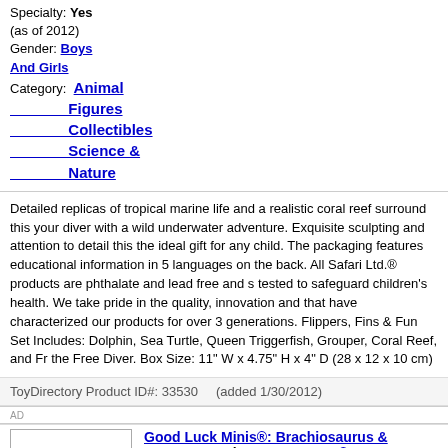Specialty: Yes (as of 2012)
Gender: Boys And Girls
Category: Animal Figures Collectibles Science & Nature
Detailed replicas of tropical marine life and a realistic coral reef surround this young diver with a wild underwater adventure. Exquisite sculpting and attention to detail make this the ideal gift for any child. The packaging features educational information in 5 languages on the back. All Safari Ltd.® products are phthalate and lead free and safety tested to safeguard children's health. We take pride in the quality, innovation and care that have characterized our products for over 3 generations. Flippers, Fins & Fun! TOOB® Set Includes: Dolphin, Sea Turtle, Queen Triggerfish, Grouper, Coral Reef, and Free Diver the Free Diver. Box Size: 11" W x 4.75" H x 4" D (28 x 12 x 10 cm)
ToyDirectory Product ID#: 33530    (added 1/30/2012)
AD
[Figure (photo): Toy dinosaur figures on white background]
Good Luck Minis®: Brachiosaurus & Stegosaurus by SAFARI LTD.®
Other products from SAFARI LTD.®
Shop for It!